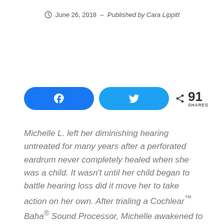June 26, 2018 – Published by Cara Lippitt
[Figure (other): Social share buttons: Facebook (blue rounded button with f icon), Twitter (light blue rounded button with bird icon), and share count showing 91 SHARES]
Michelle L. left her diminishing hearing untreated for many years after a perforated eardrum never completely healed when she was a child. It wasn't until her child began to battle hearing loss did it move her to take action on her own. After trialing a Cochlear™ Baha® Sound Processor, Michelle awakened to the plethora of